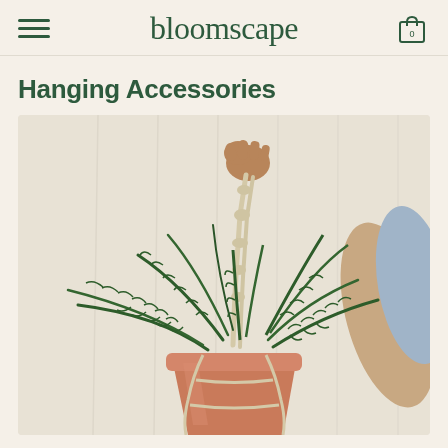bloomscape
Hanging Accessories
[Figure (photo): A person holding up a fern plant in a terracotta pot suspended by a macramé hanging accessory against a neutral curtain background]